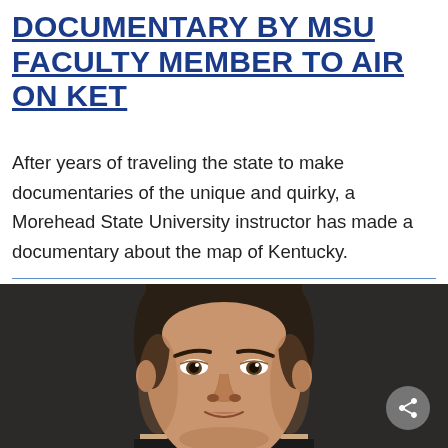DOCUMENTARY BY MSU FACULTY MEMBER TO AIR ON KET
After years of traveling the state to make documentaries of the unique and quirky, a Morehead State University instructor has made a documentary about the map of Kentucky.
[Figure (photo): Headshot portrait of a young man with dark hair against a dark background]